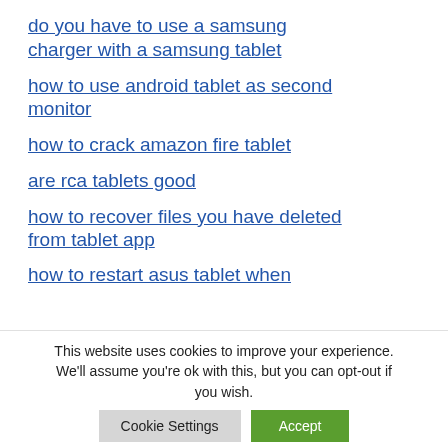do you have to use a samsung charger with a samsung tablet
how to use android tablet as second monitor
how to crack amazon fire tablet
are rca tablets good
how to recover files you have deleted from tablet app
how to restart asus tablet when
This website uses cookies to improve your experience. We'll assume you're ok with this, but you can opt-out if you wish.